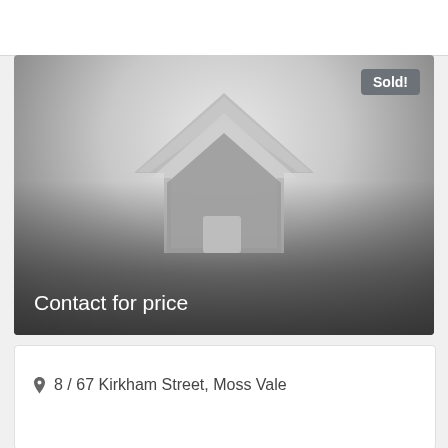[Figure (photo): Placeholder property image showing a grey house icon with gradient background, a 'Sold!' badge in the top-right corner, and 'Contact for price' text at the bottom-left.]
8 / 67 Kirkham Street, Moss Vale